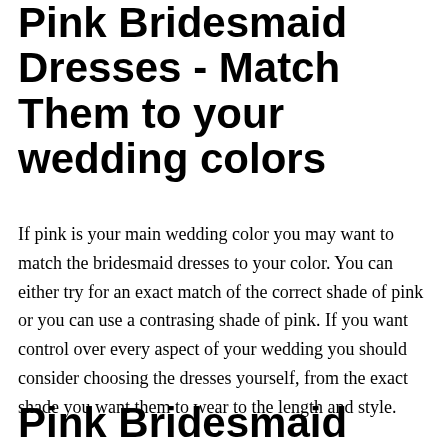Pink Bridesmaid Dresses - Match Them to your wedding colors
If pink is your main wedding color you may want to match the bridesmaid dresses to your color. You can either try for an exact match of the correct shade of pink or you can use a contrasing shade of pink. If you want control over every aspect of your wedding you should consider choosing the dresses yourself, from the exact shade you want them to wear to the length and style.
Pink Bridesmaid